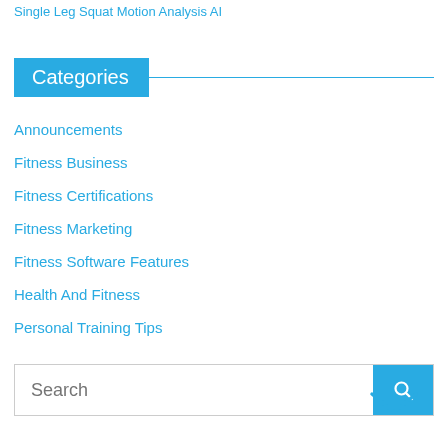Single Leg Squat Motion Analysis AI
Categories
Announcements
Fitness Business
Fitness Certifications
Fitness Marketing
Fitness Software Features
Health And Fitness
Personal Training Tips
Search